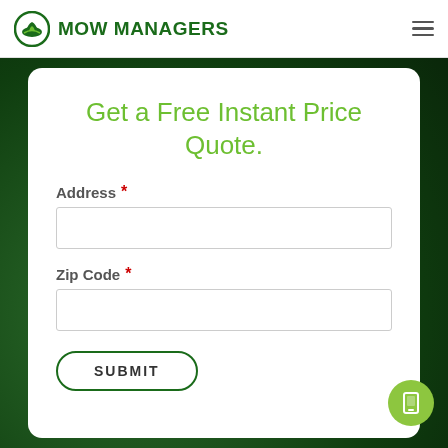[Figure (logo): Mow Managers logo with circular green emblem and bold green text]
Get a Free Instant Price Quote.
Address *
Zip Code *
SUBMIT